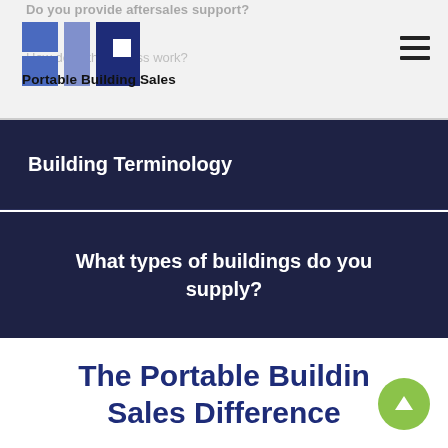Do you provide aftersales support?
[Figure (logo): Portable Building Sales logo: a grid of blue rectangles forming a stylized building/grid icon, with company name below]
How does the access work?
Building Terminology
What types of buildings do you supply?
The Portable Building Sales Difference